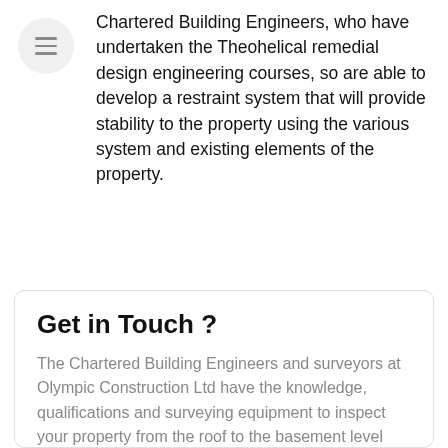[Figure (illustration): Circular menu button icon with three horizontal lines (hamburger menu)]
Chartered Building Engineers, who have undertaken the Theohelical remedial design engineering courses, so are able to develop a restraint system that will provide stability to the property using the various system and existing elements of the property.
Get in Touch ?
The Chartered Building Engineers and surveyors at Olympic Construction Ltd have the knowledge, qualifications and surveying equipment to inspect your property from the roof to the basement level and provide you with a compressive written report with the answers you or your lenders are looking for
Tel - 0161 633 9860 & 01625 900 800